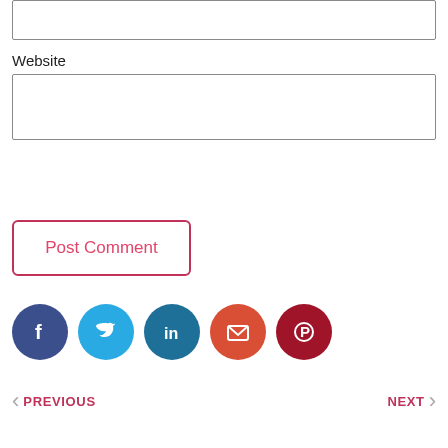(text input box — top, partial)
Website
(website input box)
Post Comment
[Figure (illustration): Row of five social media icon circles: Facebook (dark blue), Twitter (light blue), LinkedIn (teal blue), Email (orange-red), Pinterest (dark red)]
< PREVIOUS    NEXT >